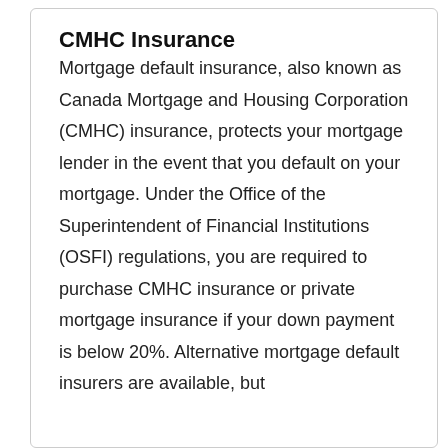CMHC Insurance
Mortgage default insurance, also known as Canada Mortgage and Housing Corporation (CMHC) insurance, protects your mortgage lender in the event that you default on your mortgage. Under the Office of the Superintendent of Financial Institutions (OSFI) regulations, you are required to purchase CMHC insurance or private mortgage insurance if your down payment is below 20%. Alternative mortgage default insurers are available, but ...